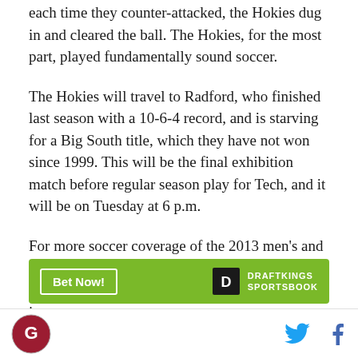each time they counter-attacked, the Hokies dug in and cleared the ball. The Hokies, for the most part, played fundamentally sound soccer.
The Hokies will travel to Radford, who finished last season with a 10-6-4 record, and is starving for a Big South title, which they have not won since 1999. This will be the final exhibition match before regular season play for Tech, and it will be on Tuesday at 6 p.m.
For more soccer coverage of the 2013 men's and women's seasons, Gobbler Country is your best free resource on the internet. Don't miss out on it.
[Figure (other): DraftKings Sportsbook advertisement banner with green background, 'Bet Now!' button, and DraftKings Sportsbook logo]
Site logo and social media icons (Twitter, Facebook)